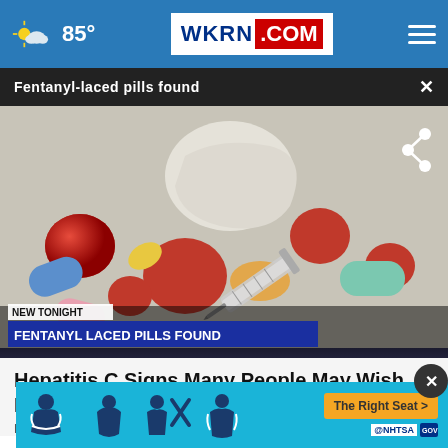85° WKRN.COM
Fentanyl-laced pills found ×
[Figure (screenshot): News video screenshot showing colorful pills, a syringe, and white powder on a surface. Lower-third banner reads NEW TONIGHT / FENTANYL LACED PILLS FOUND]
Hepatitis C Signs Many People May Wish They'd Identified Sooner
Hep C
[Figure (infographic): NHTSA The Right Seat advertisement banner with car seat safety icons on blue background]